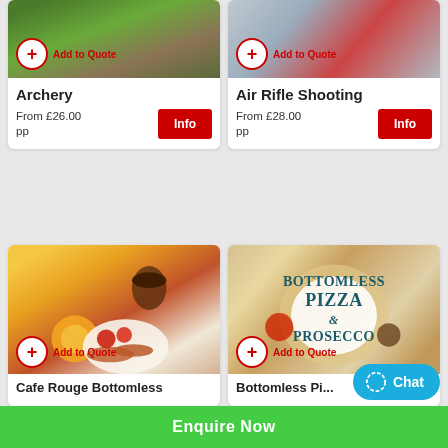[Figure (photo): Archery outdoor scene with targets]
Archery
From £26.00 pp
[Figure (photo): Air rifle shooting activity with person and equipment]
Air Rifle Shooting
From £28.00 pp
[Figure (photo): Cafe Rouge bottomless breakfast with orange juice, coffee, toast, sausages, eggs and tomatoes]
Cafe Rouge Bottomless
[Figure (photo): Bottomless Pizza and Prosecco promotional image with pizza and sauces on wooden board]
Bottomless Pizza...
Enquire Now
Chat